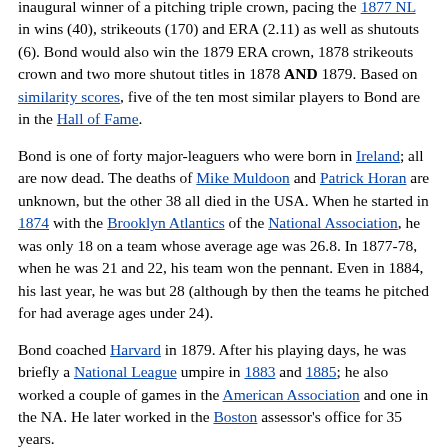inaugural winner of a pitching triple crown, pacing the 1877 NL in wins (40), strikeouts (170) and ERA (2.11) as well as shutouts (6). Bond would also win the 1879 ERA crown, 1878 strikeouts crown and two more shutout titles in 1878 AND 1879. Based on similarity scores, five of the ten most similar players to Bond are in the Hall of Fame.
Bond is one of forty major-leaguers who were born in Ireland; all are now dead. The deaths of Mike Muldoon and Patrick Horan are unknown, but the other 38 all died in the USA. When he started in 1874 with the Brooklyn Atlantics of the National Association, he was only 18 on a team whose average age was 26.8. In 1877-78, when he was 21 and 22, his team won the pennant. Even in 1884, his last year, he was but 28 (although by then the teams he pitched for had average ages under 24).
Bond coached Harvard in 1879. After his playing days, he was briefly a National League umpire in 1883 and 1885; he also worked a couple of games in the American Association and one in the NA. He later worked in the Boston assessor's office for 35 years.
Records[edit]
Bond is the only player since the 1876 founding of the National